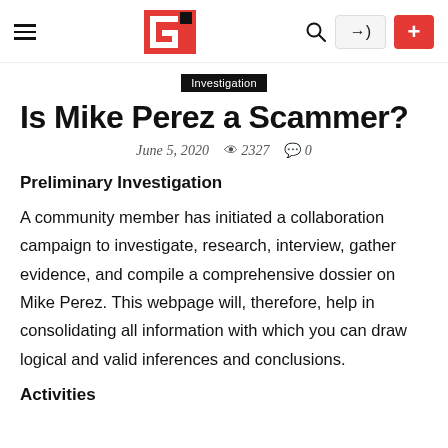Navigation bar with hamburger menu, logo, search icon, login button, and plus button
Investigation
Is Mike Perez a Scammer?
June 5, 2020   👁 2327   💬 0
Preliminary Investigation
A community member has initiated a collaboration campaign to investigate, research, interview, gather evidence, and compile a comprehensive dossier on Mike Perez. This webpage will, therefore, help in consolidating all information with which you can draw logical and valid inferences and conclusions.
Activities